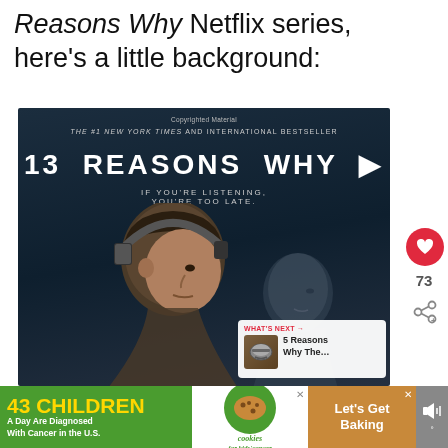Reasons Why Netflix series, here's a little background:
[Figure (photo): Book/show cover for '13 Reasons Why' showing a young man with headphones and a girl in profile against dark background. Text: 'Copyrighted Material', 'THE #1 NEW YORK TIMES AND INTERNATIONAL BESTSELLER', '13 REASONS WHY ▶', 'IF YOU'RE LISTENING, YOU'RE TOO LATE.']
WHAT'S NEXT → 5 Reasons Why The...
43 CHILDREN A Day Are Diagnosed With Cancer in the U.S.
cookies for kids' cancer
Let's Get Baking